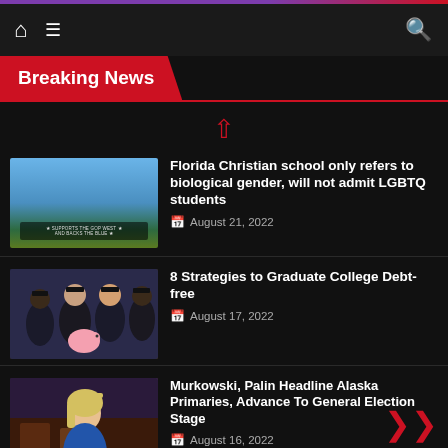Breaking News
[Figure (photo): School building with a sign in front, blue sky background]
Florida Christian school only refers to biological gender, will not admit LGBTQ students
August 21, 2022
[Figure (photo): Group of college graduates in caps and gowns holding a pink piggy bank]
8 Strategies to Graduate College Debt-free
August 17, 2022
[Figure (photo): Woman in blue dress in a formal setting]
Murkowski, Palin Headline Alaska Primaries, Advance To General Election Stage
August 16, 2022